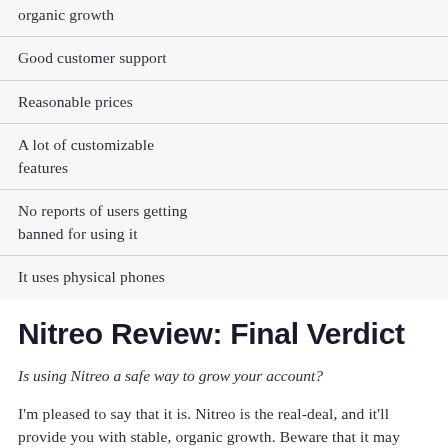organic growth
Good customer support
Reasonable prices
A lot of customizable features
No reports of users getting banned for using it
It uses physical phones
Nitreo Review: Final Verdict
Is using Nitreo a safe way to grow your account?
I'm pleased to say that it is. Nitreo is the real-deal, and it'll provide you with stable, organic growth. Beware that it may take a few days for it to start producing results.